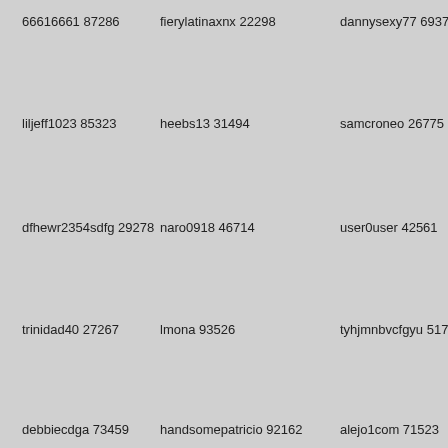66616661 87286
fierylatinaxnx 22298
dannysexy77 69378
liljeff1023 85323
heebs13 31494
samcroneo 26775
dfhewr2354sdfg 29278
naro0918 46714
user0user 42561
trinidad40 27267
lmona 93526
tyhjmnbvcfgyu 51768
debbiecdga 73459
handsomepatricio 92162
alejo1com 71523